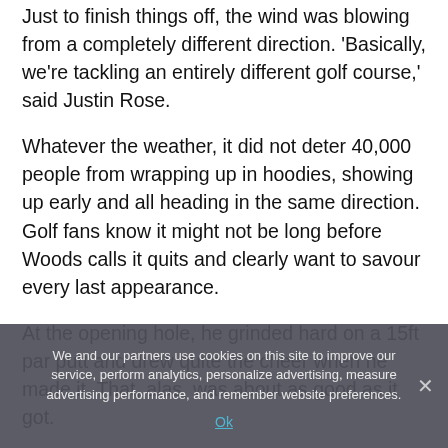Just to finish things off, the wind was blowing from a completely different direction. 'Basically, we're tackling an entirely different golf course,' said Justin Rose.
Whatever the weather, it did not deter 40,000 people from wrapping up in hoodies, showing up early and all heading in the same direction. Golf fans know it might not be long before Woods calls it quits and clearly want to savour every last appearance.
At the opening hole, he grinded hard on a 15ft par putt and drew quite the cheer when he made it. That, alas, was about as good as it got.
We and our partners use cookies on this site to improve our service, perform analytics, personalize advertising, measure advertising performance, and remember website preferences.